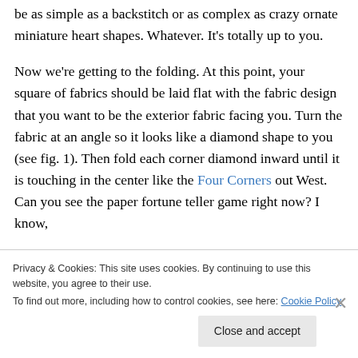be as simple as a backstitch or as complex as crazy ornate miniature heart shapes. Whatever. It's totally up to you.
Now we're getting to the folding. At this point, your square of fabrics should be laid flat with the fabric design that you want to be the exterior fabric facing you. Turn the fabric at an angle so it looks like a diamond shape to you (see fig. 1). Then fold each corner diamond inward until it is touching in the center like the Four Corners out West. Can you see the paper fortune teller game right now? I know,
Privacy & Cookies: This site uses cookies. By continuing to use this website, you agree to their use.
To find out more, including how to control cookies, see here: Cookie Policy